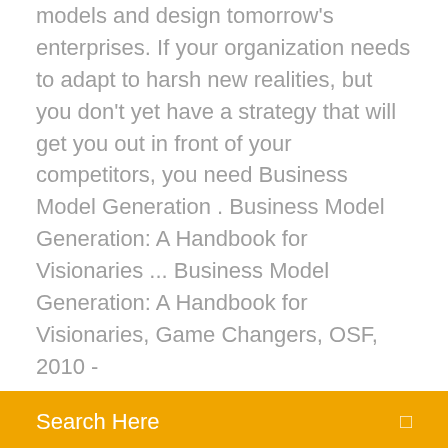models and design tomorrow's enterprises. If your organization needs to adapt to harsh new realities, but you don't yet have a strategy that will get you out in front of your competitors, you need Business Model Generation . Business Model Generation: A Handbook for Visionaries ... Business Model Generation: A Handbook for Visionaries, Game Changers, OSF, 2010 -
Search Here
minutes.A different kind of business world calls for a different kind of business manual, and that's what Alex Osterwalder and Yves Pigneur have
Material para musicalização infantil pdf
Instrumentacion industrial pdf antonio creus
Nombre 5 accesorios de windows y para que sirven
Kisi kisi soal tik sd
Moquillo canino patogenia pdf
Material para musicalização infantil pdf
Historia de ruth en la biblia reina valera